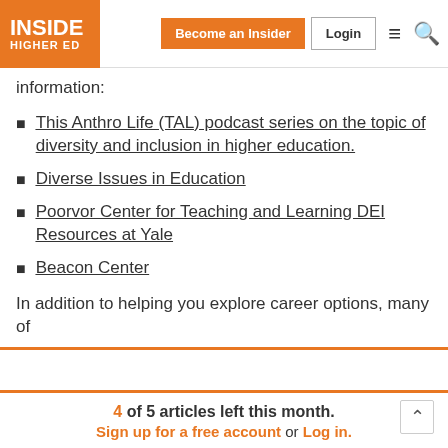INSIDE HIGHER ED | Become an Insider | Login
information:
This Anthro Life (TAL) podcast series on the topic of diversity and inclusion in higher education.
Diverse Issues in Education
Poorvor Center for Teaching and Learning DEI Resources at Yale
Beacon Center
In addition to helping you explore career options, many of
4 of 5 articles left this month. Sign up for a free account or Log in.